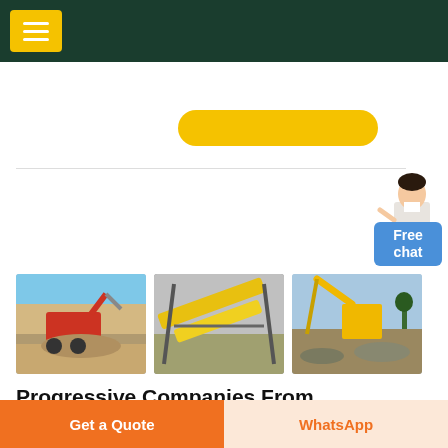Navigation header with menu button
[Figure (screenshot): Yellow pill-shaped button/banner below header]
[Figure (photo): Three photos of mining/quarrying equipment and operations shown side by side]
Progressive Companies From Around The World Rely On Sahara ...
to reach the -40%5 dew point. The heat-of-
[Figure (illustration): Customer service person figure with Free chat button]
Get a Quote
WhatsApp